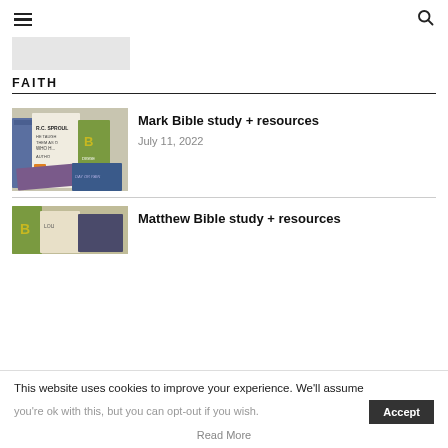☰  🔍
[Figure (other): Partial website logo/image placeholder, light gray rectangle]
FAITH
Mark Bible study + resources
July 11, 2022
[Figure (photo): Stack of Bible study books including R.C. Sproul book with MARK text visible]
Matthew Bible study + resources
[Figure (photo): Bible study resources books partially visible]
This website uses cookies to improve your experience. We'll assume you're ok with this, but you can opt-out if you wish.
Accept
Read More